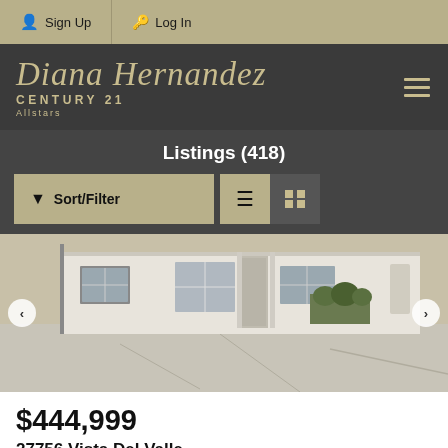Sign Up  Log In
Diana Hernandez Century 21 Allstars
Listings (418)
[Figure (photo): Exterior photo of a single-story white residential home with a large concrete driveway, landscaping, windows, and a gated entry. Navigation arrows on left and right sides.]
$444,999
27756 Vista Del Valle
Hemet, CA 92544